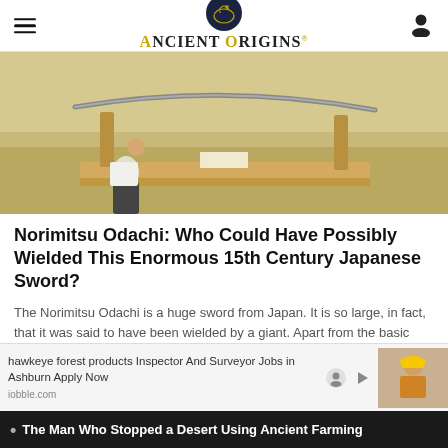Ancient Origins — Reconstructing the Story of Humanity's Past
[Figure (photo): A person bowing or leaning towards a large Japanese sword (Norimitsu Odachi) displayed horizontally on wooden supports in a museum setting.]
Norimitsu Odachi: Who Could Have Possibly Wielded This Enormous 15th Century Japanese Sword?
The Norimitsu Odachi is a huge sword from Japan. It is so large, in fact, that it was said to have been wielded by a giant. Apart from the basic knowledge of it having been forged in the 15th century AD, measuring 3.77 meters (12.37 ft.) in length, and weighing as much as 14.5 kg (31.97 lbs.), this impressive
hawkeye forest products Inspector And Surveyor Jobs in Ashburn Apply Now
iobble.com
[Figure (photo): Man in yellow hard hat, advertisement thumbnail image.]
The Man Who Stopped a Desert Using Ancient Farming